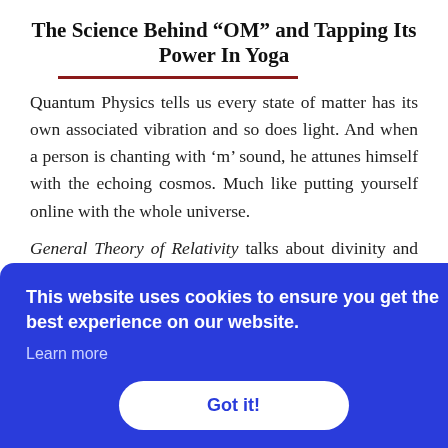The Science Behind “OM” and Tapping Its Power In Yoga
Quantum Physics tells us every state of matter has its own associated vibration and so does light. And when a person is chanting with ‘m’ sound, he attunes himself with the echoing cosmos. Much like putting yourself online with the whole universe.
General Theory of Relativity talks about divinity and origin through everything Big (Big Bang theory).
...eves it ...in died ...es with Isn’t it ...sics of grand and miniature dancing around us through the
[Figure (screenshot): Cookie consent banner overlay with blue background. Text reads: 'This website uses cookies to ensure you get the best experience on our website.' with a 'Learn more' link and a white 'Got it!' button.]